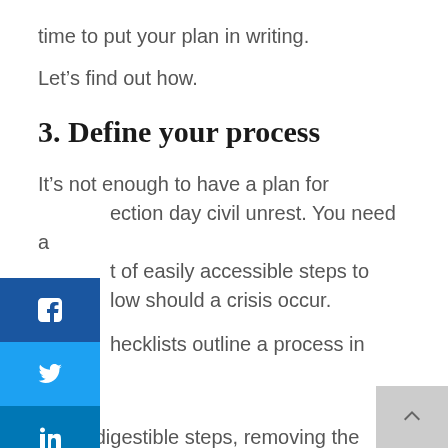time to put your plan in writing.
Let’s find out how.
3. Define your process
It’s not enough to have a plan for election day civil unrest. You need a list of easily accessible steps to follow should a crisis occur.
Checklists outline a process in small, easily digestible steps, removing the burden from human memory. In the